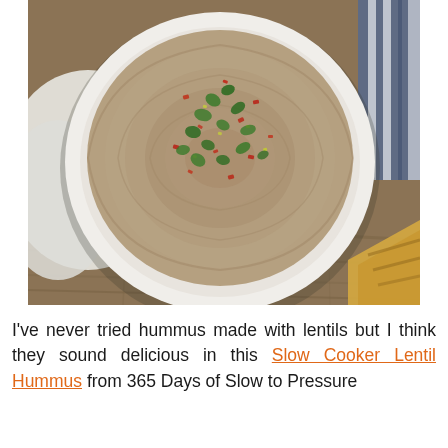[Figure (photo): Overhead view of a white bowl containing smooth lentil hummus topped with chopped fresh herbs (cilantro/parsley) and red pepper flakes, placed on a wooden surface with a white cloth and blue striped towel, with a corner of grilled pita bread visible at bottom right.]
I've never tried hummus made with lentils but I think they sound delicious in this Slow Cooker Lentil Hummus from 365 Days of Slow to Pressure